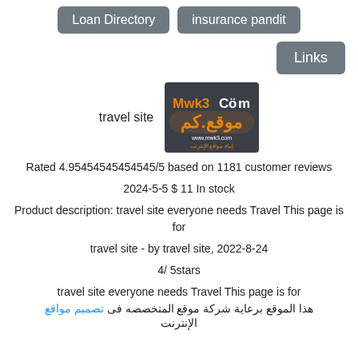Loan Directory   insurance pandit
Links
[Figure (logo): Mwk3.com logo on dark background with Arabic text and orange/white stylized lettering]
travel site
Rated 4.95454545454545/5 based on 1181 customer reviews
2024-5-5 $ 11 In stock
Product description: travel site everyone needs Travel This page is for
travel site - by travel site, 2022-8-24
4/ 5stars
travel site everyone needs Travel This page is for
هذا الموقع برعاية شركة موقع المتخصصه فى تصميم مواقع الإنترنت